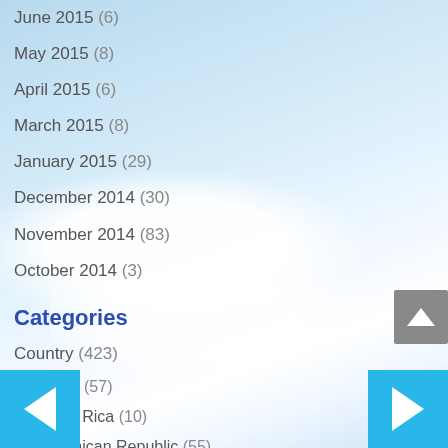June 2015 (6)
May 2015 (8)
April 2015 (6)
March 2015 (8)
January 2015 (29)
December 2014 (30)
November 2014 (83)
October 2014 (3)
Categories
Country (423)
Belize (57)
Costa Rica (10)
Dominican Republic (55)
Ecuador (56)
Haiti (18)